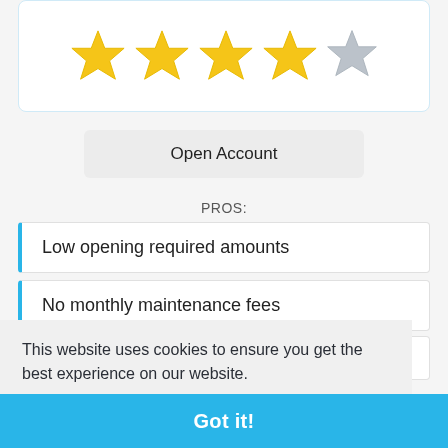[Figure (other): 4 gold stars and 1 gray star rating inside a rounded card]
Open Account
PROS:
Low opening required amounts
No monthly maintenance fees
Competitive interest rates on accounts
No out-of-network ATM fee reimbursals
CONS:
This website uses cookies to ensure you get the best experience on our website.
Learn more
Limited deposit accounts offered
Customer service not always available
Got it!